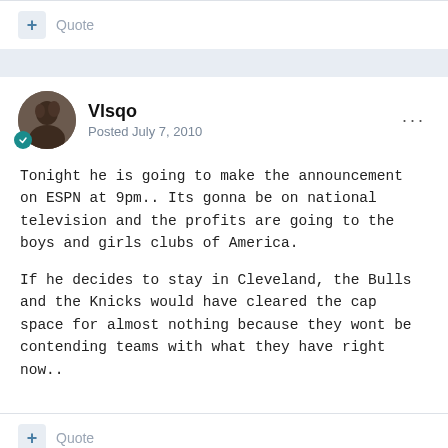+ Quote
Vlsqo
Posted July 7, 2010
Tonight he is going to make the announcement on ESPN at 9pm.. Its gonna be on national television and the profits are going to the boys and girls clubs of America.

If he decides to stay in Cleveland, the Bulls and the Knicks would have cleared the cap space for almost nothing because they wont be contending teams with what they have right now..
+ Quote